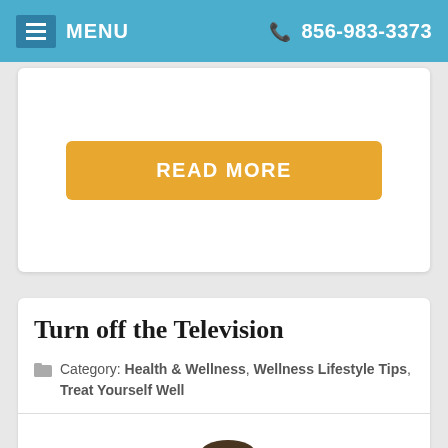MENU   856-983-3373
READ MORE
Turn off the Television
Category: Health & Wellness, Wellness Lifestyle Tips, Treat Yourself Well
[Figure (photo): Person holding a TV remote control pointing it forward, mouth open]
There are three major trends in the health of both children and adults that have public health workers